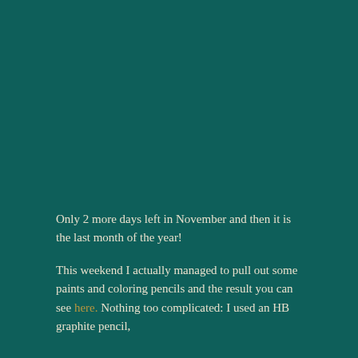Only 2 more days left in November and then it is the last month of the year!
This weekend I actually managed to pull out some paints and coloring pencils and the result you can see here. Nothing too complicated: I used an HB graphite pencil,